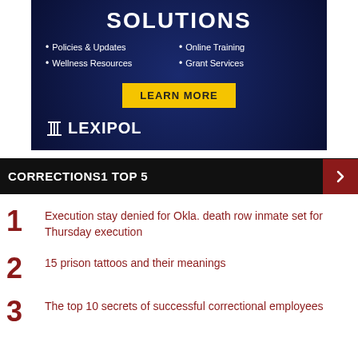[Figure (infographic): Lexipol advertisement banner with dark navy background showing bullet points: Policies & Updates, Wellness Resources, Online Training, Grant Services, a yellow LEARN MORE button, and the Lexipol logo with pillar icon]
CORRECTIONS1 TOP 5
Execution stay denied for Okla. death row inmate set for Thursday execution
15 prison tattoos and their meanings
The top 10 secrets of successful correctional employees